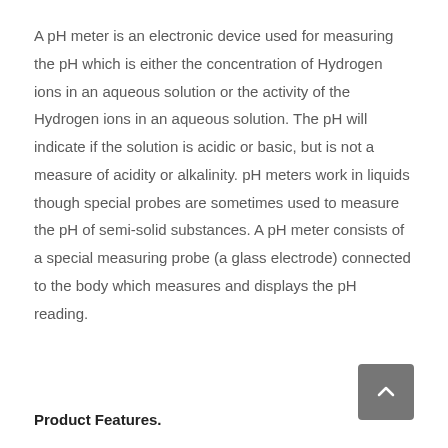A pH meter is an electronic device used for measuring the pH which is either the concentration of Hydrogen ions in an aqueous solution or the activity of the Hydrogen ions in an aqueous solution. The pH will indicate if the solution is acidic or basic, but is not a measure of acidity or alkalinity. pH meters work in liquids though special probes are sometimes used to measure the pH of semi-solid substances. A pH meter consists of a special measuring probe (a glass electrode) connected to the body which measures and displays the pH reading.
Product Features.